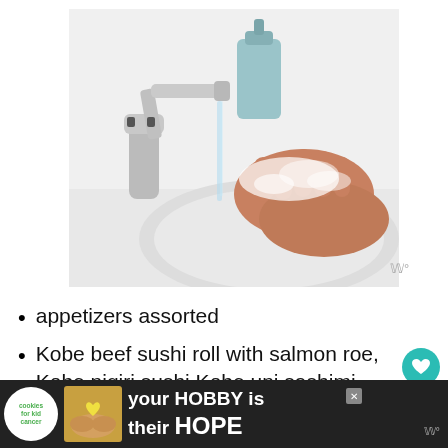[Figure (photo): Person washing soapy hands under running water at a sink with a chrome faucet and blue soap dispenser in background]
appetizers assorted
Kobe beef sushi roll with salmon roe, Kobe nigiri sushi,Kobe uni sashimi with truffle )
[Figure (infographic): Advertisement banner: cookies for kid cancer logo, image of hands holding heart-shaped soap, text 'your HOBBY is their HOPE' with close button]